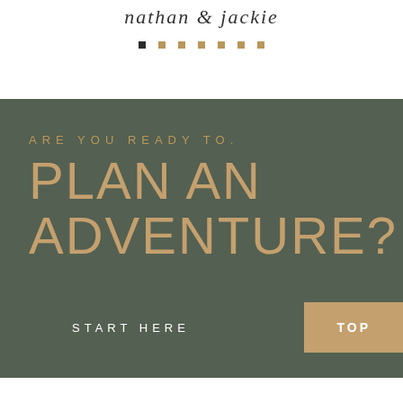nathan & jackie
[Figure (other): Decorative dot/square row navigation: one dark square followed by six gold squares]
ARE YOU READY TO PLAN AN ADVENTURE?
START HERE
TOP